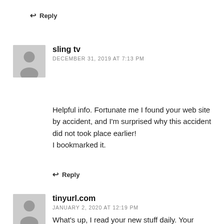↩ Reply
sling tv
DECEMBER 31, 2019 AT 7:13 PM
Helpful info. Fortunate me I found your web site by accident, and I'm surprised why this accident did not took place earlier!
I bookmarked it.
↩ Reply
tinyurl.com
JANUARY 2, 2020 AT 12:19 PM
What's up, I read your new stuff daily. Your